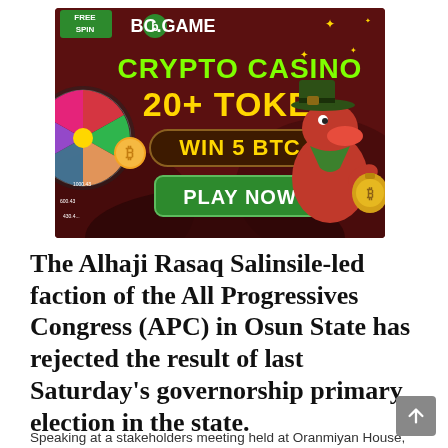[Figure (illustration): BC.GAME crypto casino advertisement banner. Dark red/maroon background with cartoon cowboy alligator character holding a bag with Bitcoin symbol. Text reads: FREE SPIN, BC.GAME logo, CRYPTO CASINO, 20+ TOKEN, WIN 5 BTC, PLAY NOW button in green. Colorful spinning wheel on left side.]
The Alhaji Rasaq Salinsile-led faction of the All Progressives Congress (APC) in Osun State has rejected the result of last Saturday's governorship primary election in the state.
Speaking at a stakeholders meeting held at Oranmiyan House,